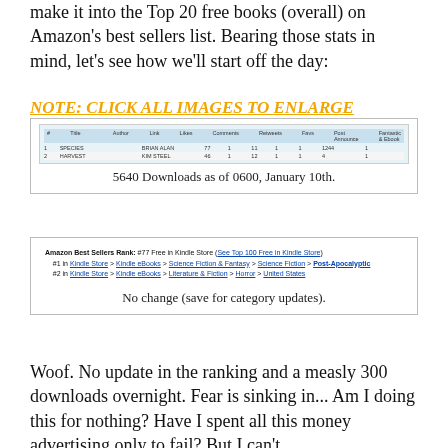make it into the Top 20 free books (overall) on Amazon's best sellers list. Bearing those stats in mind, let's see how we'll start off the day:
NOTE: CLICK ALL IMAGES TO ENLARGE
[Figure (screenshot): Screenshot of a spreadsheet or dashboard showing download data. Caption: 5640 Downloads as of 0600, January 10th.]
5640 Downloads as of 0600, January 10th.
[Figure (screenshot): Screenshot of Amazon Best Sellers Rank showing: #77 Free in Kindle Store; #1 in Kindle Store > Kindle eBooks > Science Fiction & Fantasy > Science Fiction > Post-Apocalyptic; #2 in Kindle Store > Kindle eBooks > Literature & Fiction > Horror > United States. Caption: No change (save for category updates).]
No change (save for category updates).
Woof. No update in the ranking and a measly 300 downloads overnight. Fear is sinking in... Am I doing this for nothing? Have I spent all this money advertising only to fail? But I can't